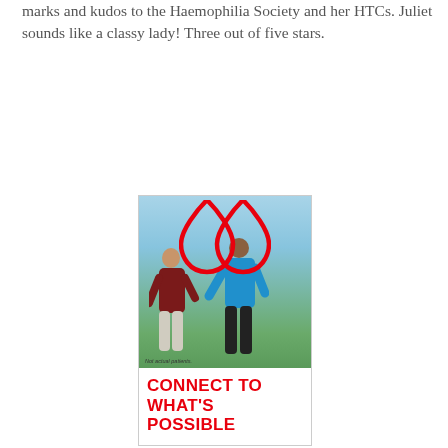marks and kudos to the Haemophilia Society and her HTCs. Juliet sounds like a classy lady! Three out of five stars.
[Figure (photo): Advertisement showing two people (a woman in dark red top and a man in blue shirt) jogging outdoors. A large red double-droplet logo overlays the top center. Caption reads 'Not actual patients.' Below the photo in red bold text: CONNECT TO WHAT'S POSSIBLE]